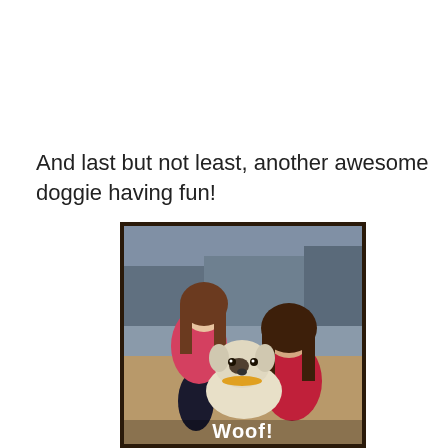And last but not least, another awesome doggie having fun!
[Figure (photo): Two young girls crouching down with a white dog wearing a yellow bandana, in what appears to be an indoor event venue. The photo has a dark border and a 'Woof!' text overlay at the bottom.]